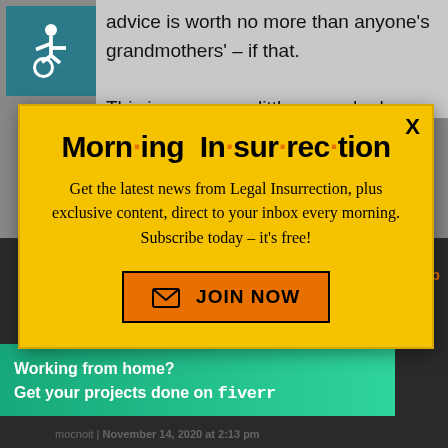advice is worth no more than anyone's grandmothers' – if that.

This is a scummy little man who has happily sold out our country for
[Figure (infographic): Modal popup newsletter subscription ad for Morning Insurrection newsletter with yellow background, orange dots in title, and orange JOIN NOW button]
if he thinks that's fortunate he should stop doin–
[Figure (infographic): Fiverr advertisement banner: Working from home? Get your projects done on fiverr]
mocnoit | November 14, 2020 at 2:13 pm